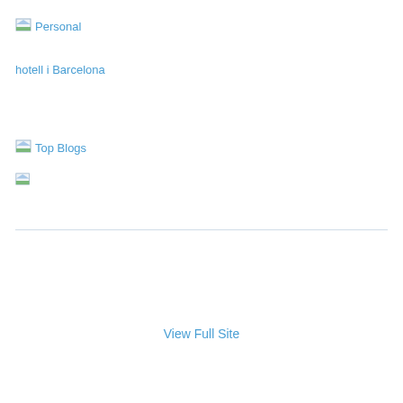[Figure (illustration): Small icon image placeholder for 'Personal' link]
hotell i Barcelona
[Figure (illustration): Small icon image placeholder for 'Top Blogs' link]
[Figure (illustration): Small icon image placeholder (no label)]
View Full Site